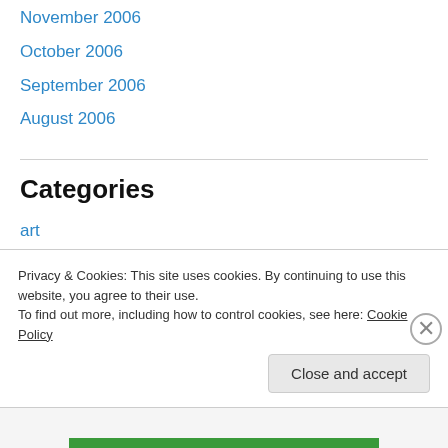November 2006
October 2006
September 2006
August 2006
Categories
art
comedy
grotesque
interview
music
Privacy & Cookies: This site uses cookies. By continuing to use this website, you agree to their use.
To find out more, including how to control cookies, see here: Cookie Policy
Close and accept